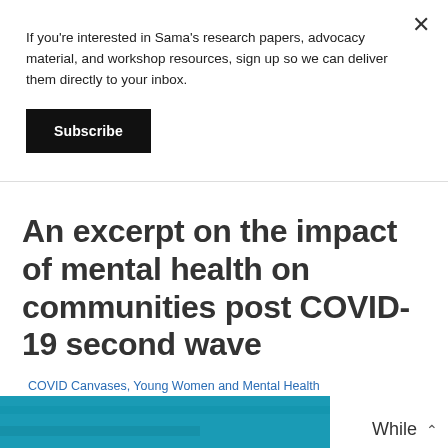If you're interested in Sama's research papers, advocacy material, and workshop resources, sign up so we can deliver them directly to your inbox.
Subscribe
An excerpt on the impact of mental health on communities post COVID-19 second wave
COVID Canvases, Young Women and Mental Health
[Figure (photo): Partial view of an article image with teal/blue background at bottom of page]
While